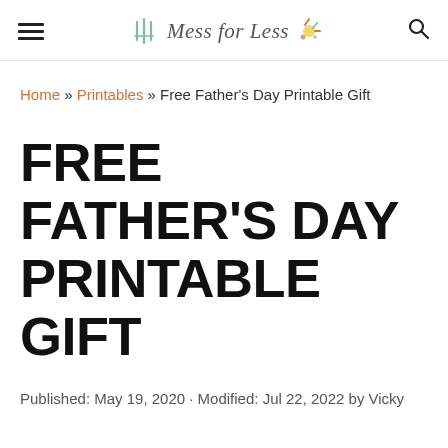Mess for Less
Home » Printables » Free Father's Day Printable Gift
FREE FATHER'S DAY PRINTABLE GIFT
Published: May 19, 2020 · Modified: Jul 22, 2022 by Vicky